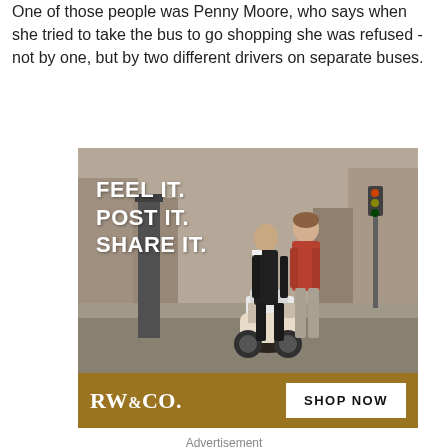One of those people was Penny Moore, who says when she tried to take the bus to go shopping she was refused - not by one, but by two different drivers on separate buses.
[Figure (photo): Advertisement for RW&CO. showing a man and woman standing near a scooter on a city street. Text overlay reads FEEL IT. POST IT. SHARE IT. Bottom banner shows RW&CO. logo and SHOP NOW button on a dark gold/brown background.]
Advertisement